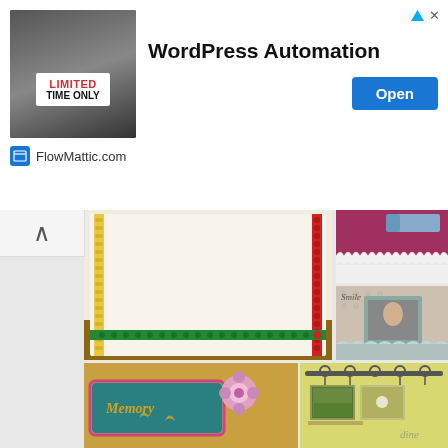[Figure (screenshot): Advertisement banner for WordPress Automation by FlowMattic.com with a 'LIMITED TIME ONLY' image, Open button, and close controls]
[Figure (photo): Collage of scrapbooking craft photos: decorative border card with yellow, red, and green washi tape borders; pink card with lace trim and rubber stamp; scrapbook page with 'Smile' text and baby photo; Memory bookmarks with flowers; framed hanging photo display]
Open
WordPress Automation
FlowMattic.com